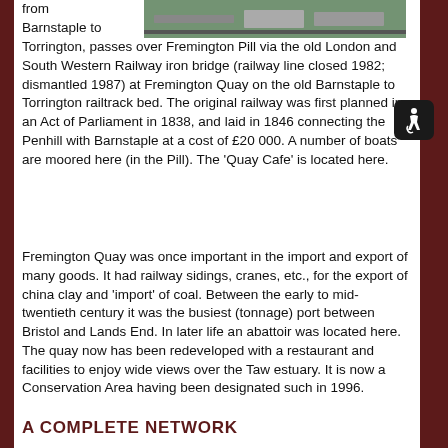[Figure (photo): Outdoor scene, partially visible at top of page showing what appears to be a road or path]
from Barnstaple to Torrington, passes over Fremington Pill via the old London and South Western Railway iron bridge (railway line closed 1982; dismantled 1987) at Fremington Quay on the old Barnstaple to Torrington railtrack bed. The original railway was first planned in an Act of Parliament in 1838, and laid in 1846 connecting the Penhill with Barnstaple at a cost of £20 000. A number of boats are moored here (in the Pill). The 'Quay Cafe' is located here.
Fremington Quay was once important in the import and export of many goods. It had railway sidings, cranes, etc., for the export of china clay and 'import' of coal. Between the early to mid-twentieth century it was the busiest (tonnage) port between Bristol and Lands End. In later life an abattoir was located here. The quay now has been redeveloped with a restaurant and facilities to enjoy wide views over the Taw estuary. It is now a Conservation Area having been designated such in 1996.
A COMPLETE NETWORK